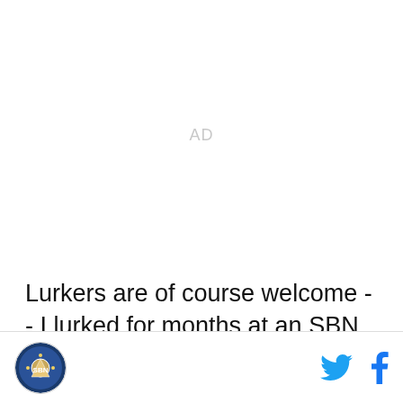[Figure (other): Advertisement placeholder with 'AD' text in light gray]
Lurkers are of course welcome -- I lurked for months at an SBN baseball site before signing up -- but don't be
Site logo and social media icons (Twitter, Facebook)